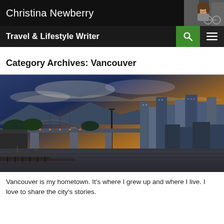Christina Newberry
Travel & Lifestyle Writer
Category Archives: Vancouver
[Figure (photo): Panoramic cityscape of Vancouver at dusk/sunset showing the Burrard Bridge on the left, marina with boats in the foreground, and downtown high-rise buildings on the right, with mountains in the background and a dramatic sky.]
Vancouver is my hometown. It's where I grew up and where I live. I love to share the city's stories.